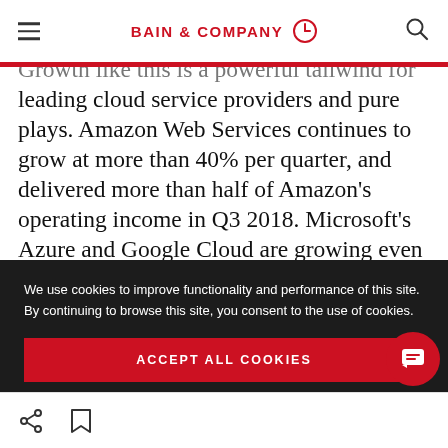BAIN & COMPANY
Growth like this is a powerful tailwind for leading cloud service providers and pure plays. Amazon Web Services continues to grow at more than 40% per quarter, and delivered more than half of Amazon's operating income in Q3 2018. Microsoft's Azure and Google Cloud are growing even faster, with Azure delivering growth of 76%
We use cookies to improve functionality and performance of this site. By continuing to browse this site, you consent to the use of cookies.
ACCEPT ALL COOKIES